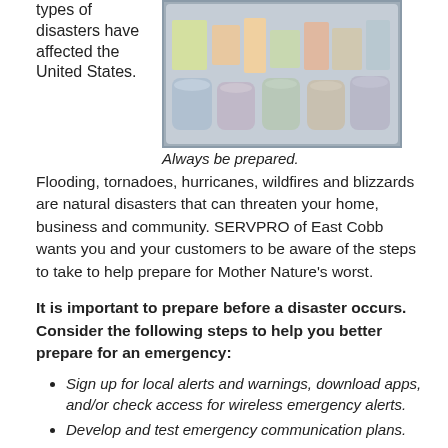types of disasters have affected the United States.
[Figure (photo): A clear plastic storage box filled with emergency supply items including canned goods, packages, and various supplies.]
Always be prepared.
Flooding, tornadoes, hurricanes, wildfires and blizzards are natural disasters that can threaten your home, business and community. SERVPRO of East Cobb wants you and your customers to be aware of the steps to take to help prepare for Mother Nature's worst.
It is important to prepare before a disaster occurs. Consider the following steps to help you better prepare for an emergency:
Sign up for local alerts and warnings, download apps, and/or check access for wireless emergency alerts.
Develop and test emergency communication plans.
Assemble update emergency supplies.
Learn about local hazards and conduct a drill to practice emergency response actions.
Participate in a preparedness discussion, training, or